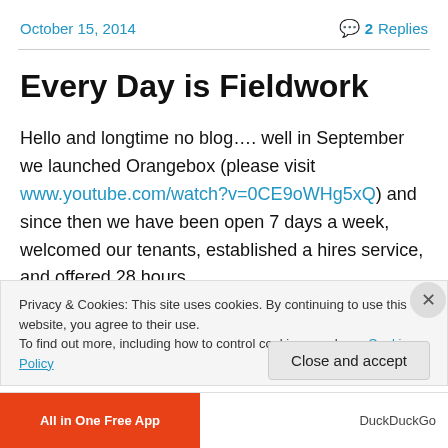October 15, 2014   💬 2 Replies
Every Day is Fieldwork
Hello and longtime no blog…. well in September we launched Orangebox (please visit www.youtube.com/watch?v=0CE9oWHg5xQ) and since then we have been open 7 days a week, welcomed our tenants, established a hires service, and offered 28 hours
Privacy & Cookies: This site uses cookies. By continuing to use this website, you agree to their use. To find out more, including how to control cookies, see here: Cookie Policy
Close and accept